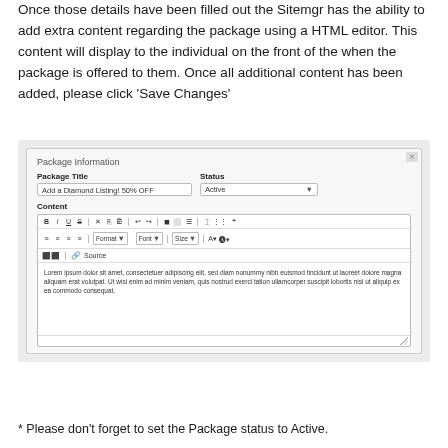Once those details have been filled out the Sitemgr has the ability to add extra content regarding the package using a HTML editor. This content will display to the individual on the front of the when the package is offered to them. Once all additional content has been added, please click 'Save Changes'
[Figure (screenshot): Screenshot of a Package Information form with fields for Package Title ('Add a Diamond Listing! 50% OFF'), Status dropdown ('Active'), and a Content HTML editor with toolbar containing formatting buttons (B, I, U, S, X, paste, undo, redo, media, table, list, etc.), Format/Font/Size dropdowns, a Source button, and lorem ipsum placeholder text in the editor area.]
* Please don't forget to set the Package status to Active.